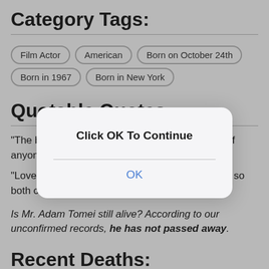Category Tags:
Film Actor
American
Born on October 24th
Born in 1967
Born in New York
Quotable Quotes:
"The big lesson in life, baby, is never be scared of anyone or anything."
"Love is a gift of one's inner most soul to another so both can be whole. "
Is Mr. Adam Tomei still alive? According to our unconfirmed records, he has not passed away.
Recent Deaths:
[Figure (screenshot): Modal dialog box with title 'Click OK To Continue' and a blue 'OK' button]